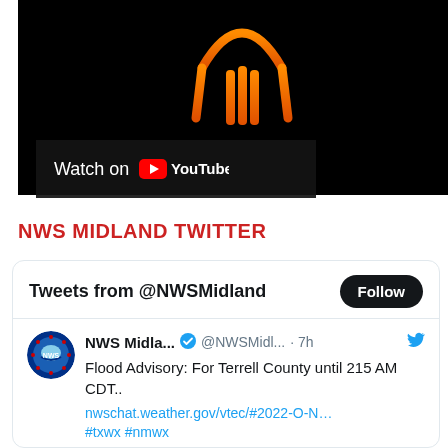[Figure (screenshot): YouTube video thumbnail showing a dark background with an orange geometric logo/icon in the center. Below the video area is a 'Watch on YouTube' button bar with the YouTube logo.]
NWS MIDLAND TWITTER
[Figure (screenshot): Twitter/X widget card showing tweets from @NWSMidland. Header says 'Tweets from @NWSMidland' with a Follow button. A tweet from NWS Midla... (@NWSMidl...) posted 7h ago reads: 'Flood Advisory: For Terrell County until 215 AM CDT.. nwschat.weather.gov/vtec/#2022-O-N… #txwx #nmwx'. Below is a green Flood Advisory button partially visible.]